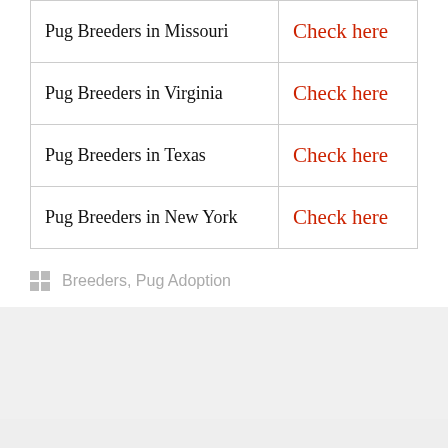|  |  |
| --- | --- |
| Pug Breeders in Missouri | Check here |
| Pug Breeders in Virginia | Check here |
| Pug Breeders in Texas | Check here |
| Pug Breeders in New York | Check here |
Breeders, Pug Adoption
Recent Posts